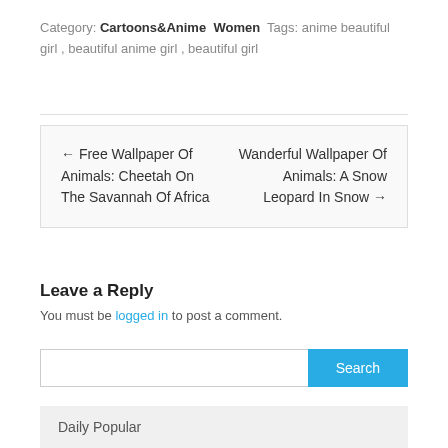Category: Cartoons&Anime Women Tags: anime beautiful girl , beautiful anime girl , beautiful girl
← Free Wallpaper Of Animals: Cheetah On The Savannah Of Africa    Wanderful Wallpaper Of Animals: A Snow Leopard In Snow →
Leave a Reply
You must be logged in to post a comment.
Search
Daily Popular